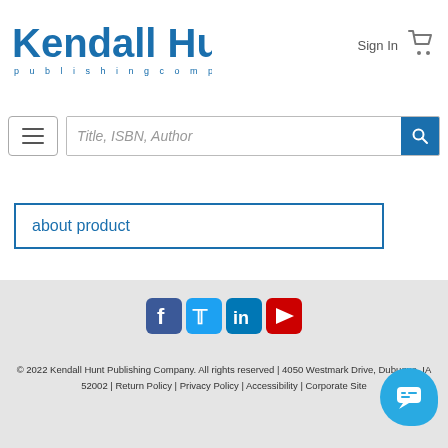[Figure (logo): Kendall Hunt publishing company logo in blue]
Sign In
[Figure (illustration): Shopping cart icon]
[Figure (illustration): Hamburger menu icon]
Title, ISBN, Author (search bar placeholder)
about product
[Figure (illustration): Social media icons: Facebook, Twitter, LinkedIn, YouTube]
© 2022 Kendall Hunt Publishing Company. All rights reserved | 4050 Westmark Drive, Dubuque, IA 52002 | Return Policy | Privacy Policy | Accessibility | Corporate Site